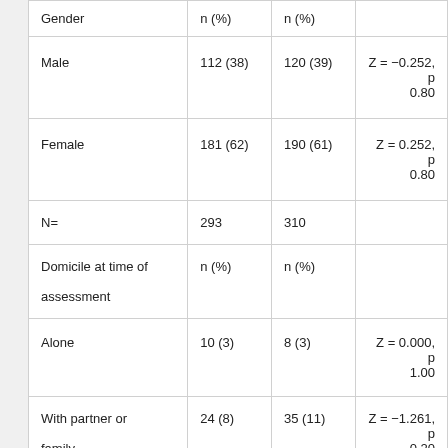|  | n (%) | n (%) |  |
| --- | --- | --- | --- |
| Gender | n (%) | n (%) |  |
| Male | 112 (38) | 120 (39) | Z = −0.252, p 0.80 |
| Female | 181 (62) | 190 (61) | Z = 0.252, p 0.80 |
| N= | 293 | 310 |  |
| Domicile at time of assessment | n (%) | n (%) |  |
| Alone | 10 (3) | 8 (3) | Z = 0.000, p 1.00 |
| With partner or family | 24 (8) | 35 (11) | Z = −1.261, p 0.20 |